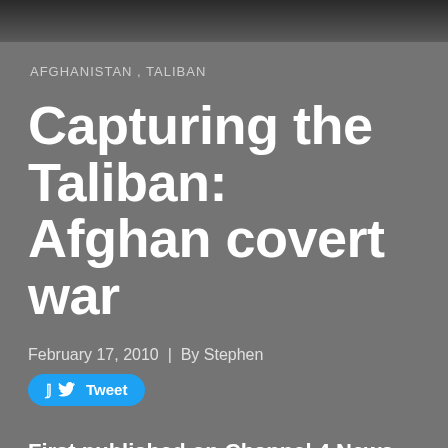[Figure (photo): Dark photographic strip at top of page, showing a blurred outdoor scene]
AFGHANISTAN , TALIBAN
Capturing the Taliban: Afghan covert war
February 17, 2010  |  By Stephen
Tweet
First published on Channel 4 News website, 16 February 2010